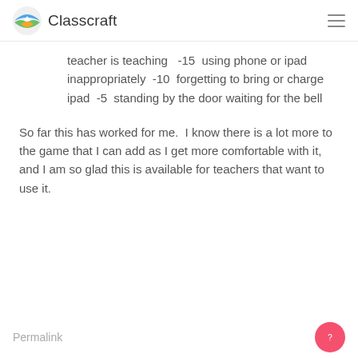Classcraft
teacher is teaching   -15  using phone or ipad inappropriately  -10  forgetting to bring or charge ipad  -5  standing by the door waiting for the bell
So far this has worked for me.  I know there is a lot more to the game that I can add as I get more comfortable with it, and I am so glad this is available for teachers that want to use it.
Permalink